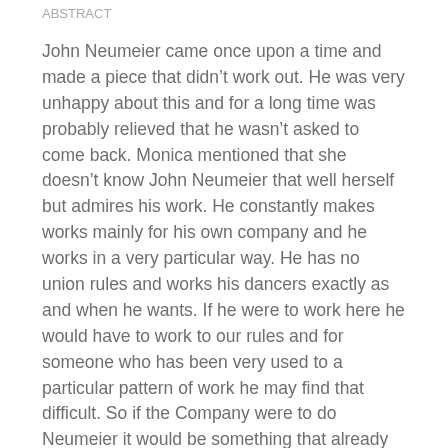ABSTRACT
John Neumeier came once upon a time and made a piece that didn't work out. He was very unhappy about this and for a long time was probably relieved that he wasn't asked to come back. Monica mentioned that she doesn't know John Neumeier that well herself but admires his work. He constantly makes works mainly for his own company and he works in a very particular way. He has no union rules and works his dancers exactly as and when he wants. If he were to work here he would have to work to our rules and for someone who has been very used to a particular pattern of work he may find that difficult. So if the Company were to do Neumeier it would be something that already exists. Monica has seen on video a couple of works that she likes so it's not too late.
“So the dancers may have their wishes but they don’t always know what goes on behind the scenes!"